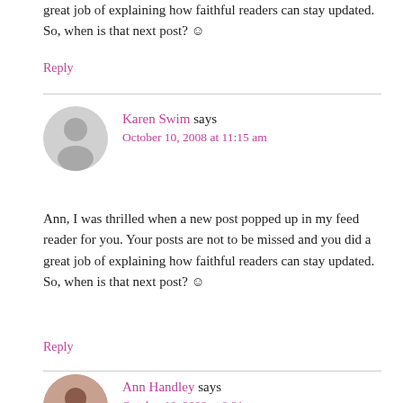great job of explaining how faithful readers can stay updated. So, when is that next post? ☺
Reply
Karen Swim says
October 10, 2008 at 11:15 am
Ann, I was thrilled when a new post popped up in my feed reader for you. Your posts are not to be missed and you did a great job of explaining how faithful readers can stay updated. So, when is that next post? ☺
Reply
Ann Handley says
October 10, 2008 at 9:31 pm